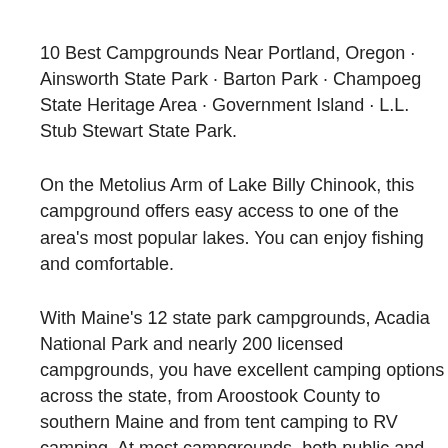10 Best Campgrounds Near Portland, Oregon · Ainsworth State Park · Barton Park · Champoeg State Heritage Area · Government Island · L.L. Stub Stewart State Park.
On the Metolius Arm of Lake Billy Chinook, this campground offers easy access to one of the area's most popular lakes. You can enjoy fishing and comfortable.
With Maine's 12 state park campgrounds, Acadia National Park and nearly 200 licensed campgrounds, you have excellent camping options across the state, from Aroostook County to southern Maine and from tent camping to RV camping. At most campgrounds, both public and private, activities like hiking, biking and even rock climbing are close by.
At the Portland Museum of Art, you'll find another treasure trove of internationally renowned artists and a who's who of